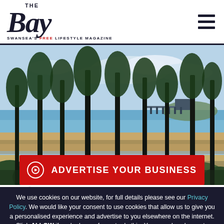The Bay - Swansea's Free Lifestyle Magazine
[Figure (illustration): Illustrated landscape of Swansea bay viewed through tall trees, showing sandy beach, tidal flats, blue water, clouds and a pier in the distance]
ADVERTISE YOUR BUSINESS
We use cookies on our website, for full details please see our Privacy Policy. We would like your consent to use cookies that allow us to give you a personalised experience and advertise to you elsewhere on the internet. Click ALLOW if you're happy for us to do this. You can also choose to disable all optional cookies by clicking DISABLE.
Allow
Disable